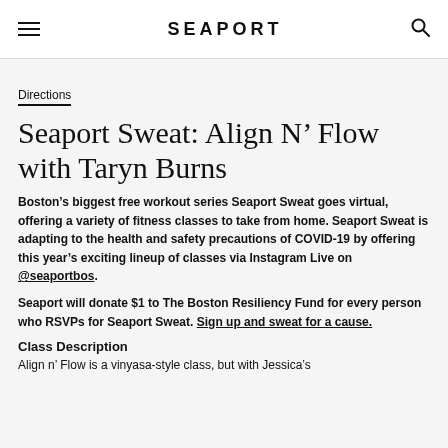SEAPORT
Directions
Seaport Sweat: Align N’ Flow with Taryn Burns
Boston’s biggest free workout series Seaport Sweat goes virtual, offering a variety of fitness classes to take from home. Seaport Sweat is adapting to the health and safety precautions of COVID-19 by offering this year’s exciting lineup of classes via Instagram Live on @seaportbos.
Seaport will donate $1 to The Boston Resiliency Fund for every person who RSVPs for Seaport Sweat. Sign up and sweat for a cause.
Class Description
Align n’ Flow is a vinyasa-style class, but with Jessica’s